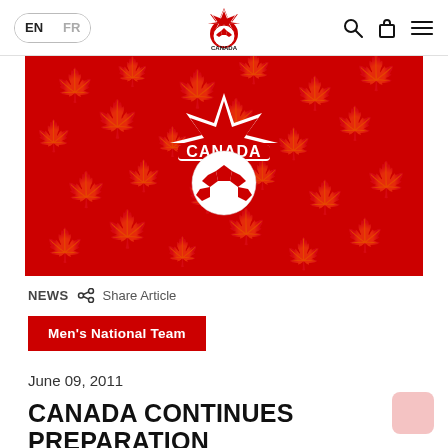EN FR — Canada Soccer — Search, Bag, Menu
[Figure (logo): Canada Soccer red hero banner with large white Canada Soccer crest logo centered on red background with repeating maple leaf texture]
NEWS  Share Article
Men's National Team
June 09, 2011
CANADA CONTINUES PREPARATION